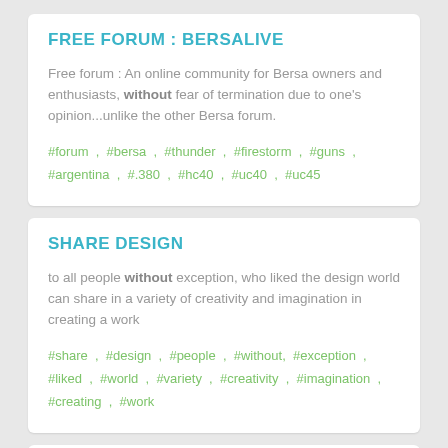FREE FORUM : BERSALIVE
Free forum : An online community for Bersa owners and enthusiasts, without fear of termination due to one's opinion...unlike the other Bersa forum.
#forum , #bersa , #thunder , #firestorm , #guns , #argentina , #.380 , #hc40 , #uc40 , #uc45
SHARE DESIGN
to all people without exception, who liked the design world can share in a variety of creativity and imagination in creating a work
#share , #design , #people , #without, #exception , #liked , #world , #variety , #creativity , #imagination , #creating , #work